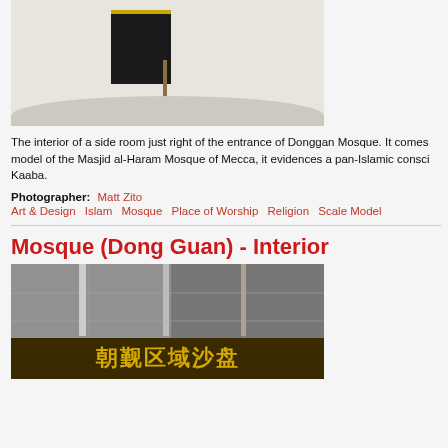[Figure (photo): Interior of a side room in Donggan Mosque showing a scale model of the Masjid al-Haram with the Kaaba, viewed from above on white marble floor.]
The interior of a side room just right of the entrance of Donggan Mosque. It comes model of the Masjid al-Haram Mosque of Mecca, it evidences a pan-Islamic consci Kaaba.
Photographer: Matt Zito
Art & Design   Islam   Mosque   Place of Worship   Religion   Scale Model
Mosque (Dong Guan) - Interior
[Figure (photo): Interior photo showing vertical poles and a sign with Chinese characters reading 朝觐区域沙盘 in yellow/gold on dark background, with a grayscale image of a mosque in the upper portion.]